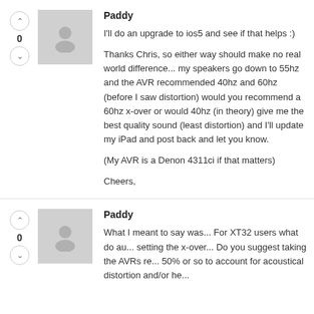Paddy
I'll do an upgrade to ios5 and see if that helps :)

Thanks Chris, so either way should make no real world difference... my speakers go down to 55hz and the AVR recommended 40hz and 60hz (before I saw distortion) would you recommend a 60hz x-over or would 40hz (in theory) give me the best quality sound (least distortion) and I'll update my iPad and post back and let you know.

(My AVR is a Denon 4311ci if that matters)

Cheers,
Paddy
What I meant to say was... For XT32 users what do au... setting the x-over... Do you suggest taking the AVRs re... 50% or so to account for acoustical distortion and/or he...